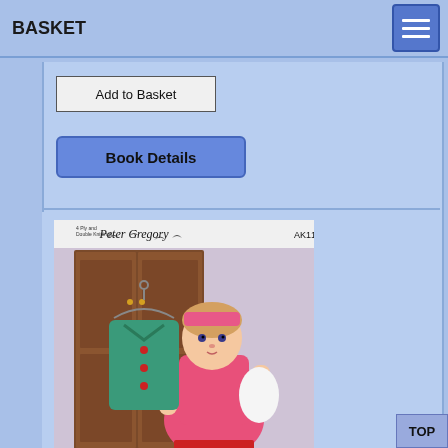BASKET
Add to Basket
Book Details
[Figure (photo): Book cover of 'Doll's Wardrobe' by Peter Gregory (AK11). Shows a baby doll wearing a pink knitted dress and hat, holding a white outfit, with a teal/green knitted cardigan on a hanger nearby. Text reads 'Peter Gregory', 'Doll's Wardrobe', '13 Complete Outfits For Your Baby Doll'. Background shows a wooden wardrobe.]
TOP